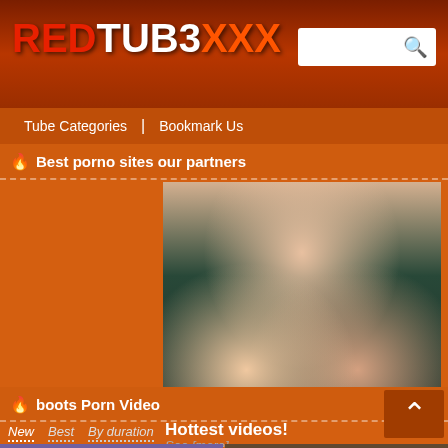REDTUB3XXX
Tube Categories | Bookmark Us
🔥 Best porno sites our partners
[Figure (photo): Two women in an intimate pose lying on a teal/dark surface, photographed from above]
Hottest videos!
See [more]
🔥 boots Porn Video
New   Best   By duration
[Figure (photo): Video thumbnail strip showing two partial thumbnail images at the bottom of the page]